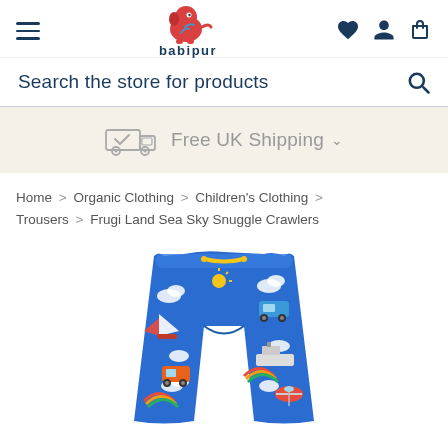[Figure (logo): Babipur logo: red elephant with white crescent moon and blue water splash, with 'babipur' text below in dark navy]
Search the store for products
[Figure (infographic): Free UK Shipping banner with a delivery truck icon with checkmark]
Home > Organic Clothing > Children's Clothing > Trousers > Frugi Land Sea Sky Snuggle Crawlers
[Figure (photo): Blue children's crawlers/trousers with colorful land, sea and sky transport print including cars, boats, helicopters, rainbows and clouds with a yellow drawstring waist]